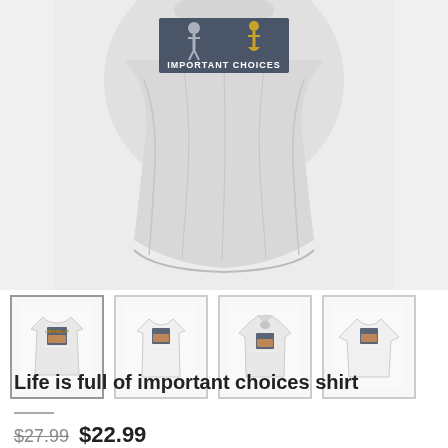[Figure (photo): Close-up photo of a white t-shirt with graphic showing 'IMPORTANT CHOICES' text, partially cropped showing the lower torso portion of the shirt in gray/white tones]
[Figure (photo): Four thumbnail product images showing the same 'Life is full of important choices' design on different apparel: fitted t-shirt, classic t-shirt, hoodie, and long-sleeve shirt]
Life is full of important choices shirt
$27.99  $22.99